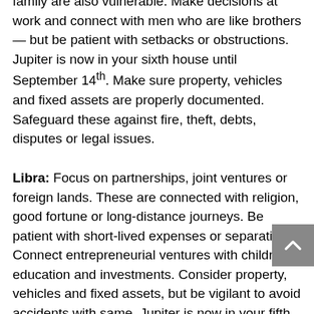family are also vulnerable. Make decisions at work and connect with men who are like brothers — but be patient with setbacks or obstructions. Jupiter is now in your sixth house until September 14th. Make sure property, vehicles and fixed assets are properly documented. Safeguard these against fire, theft, debts, disputes or legal issues.
Libra: Focus on partnerships, joint ventures or foreign lands. These are connected with religion, good fortune or long-distance journeys. Be patient with short-lived expenses or separations. Connect entrepreneurial ventures with children, education and investments. Consider property, vehicles and fixed assets, but be vigilant to avoid accidents with same. Jupiter is now in your fifth house until September 14th. Connect communications and independent projects with children, education, investments and spiritual pursuits.